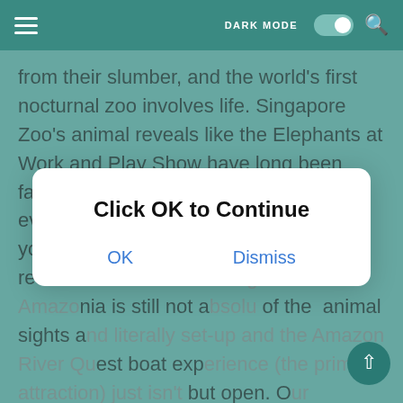DARK MODE [toggle] [search]
from their slumber, and the world's first nocturnal zoo involves life. Singapore Zoo's animal reveals like the Elephants at Work and Play Show have long been fashionable with households and our every day token feeding session provide you with the opportunity to see our residents at their most energetic. Wild Amazonia is still not absolutely to the most of the animal sights and literally set-up and the Amazon River Quest boat experience (the primary attraction) just isn't but open. Our institution has challenged us to a haiku which is a poem a couple of animal discovered right here that we like. You may also play with domesticated animals like canine on the Rainforest Kidzworld Amphitheatre. Featuring feathered and furry associates, Fragile Forest recreates the sights, sounds and smells of the tropical rainforest. Visitors can work together and rise up shut with denizens of tropical forest animals.
[Figure (screenshot): Modal dialog overlay with 'Click OK to Continue' title and OK / Dismiss buttons]